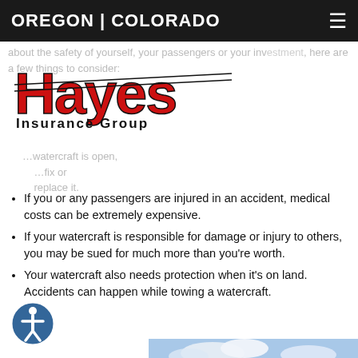OREGON | COLORADO
[Figure (logo): Hayes Insurance Group logo — red stylized text 'Hayes' with black 'Insurance Group' below]
about the safety of yourself, your passengers or your investment, here are a few things to consider:
If you or any passengers are injured in an accident, medical costs can be extremely expensive.
If your watercraft is responsible for damage or injury to others, you may be sued for much more than you're worth.
Your watercraft also needs protection when it's on land. Accidents can happen while towing a watercraft.
[Figure (photo): A white motorboat on calm water with hills/mountains in the background under a partly cloudy sky.]